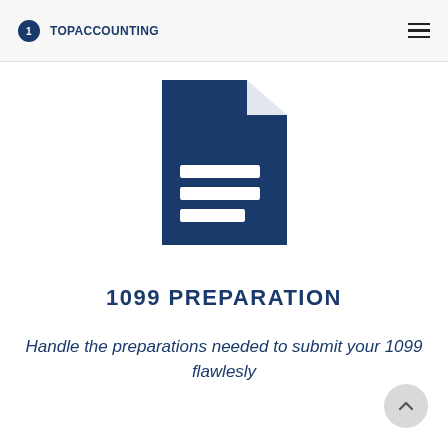1TOPACCOUNTING (hamburger menu icon)
[Figure (illustration): Dark navy blue document/file icon with a folded corner at top right and three horizontal white lines representing text lines on the document body]
1099 PREPARATION
Handle the preparations needed to submit your 1099 flawlesly